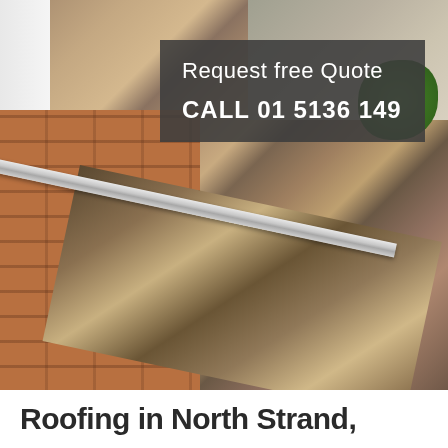[Figure (photo): Close-up photo of a clogged roof gutter with dirt, debris, and small plants, showing a brick wall and metal gutter rail with a stone/concrete background]
Request free Quote
CALL 01 5136 149
Roofing in North Strand,